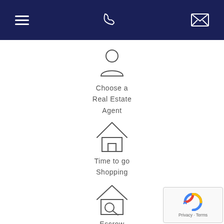Navigation bar with menu, phone, and email icons
[Figure (infographic): Person silhouette icon representing a real estate agent]
Choose a Real Estate Agent
[Figure (infographic): House icon representing home shopping]
Time to go Shopping
[Figure (infographic): House with magnifying glass icon representing escrow inspections and appraisals]
Escrow Inspections and Appraisals